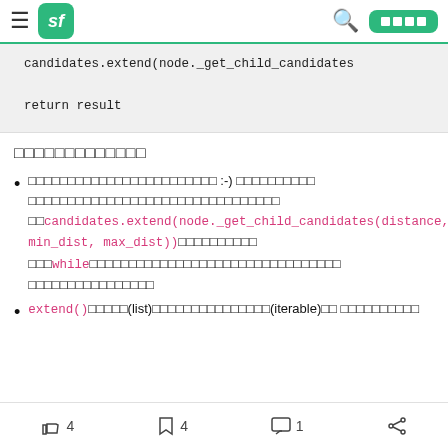sf navigation bar
candidates.extend(node._get_child_candidates

return result
□□□□□□□□□□□□□
□□□□□□□□□□□□□□□□□□□□□□□□ :-) □□□□□□□□□□ □□□□□□□□□□□□□□□□□□□□□□□□□□□□□□□□ □□candidates.extend(node._get_child_candidates(distance, min_dist, max_dist))□□□□□□□□□□ □□□while□□□□□□□□□□□□□□□□□□□□□□□□□□□□□□□□□□□□
extend()□□□□□(list)□□□□□□□□□□□□□□□(iterable)□□ □□□□□□□□□□
4 likes  4 bookmarks  1 comment  share